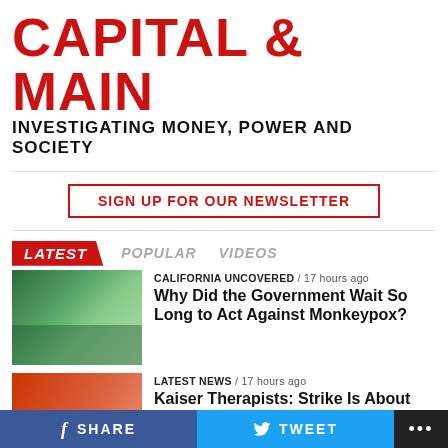CAPITAL & MAIN
INVESTIGATING MONEY, POWER AND SOCIETY
SIGN UP FOR OUR NEWSLETTER
LATEST   POPULAR   VIDEOS
[Figure (photo): Photo of a Monkeypox vaccine sign at an outdoor site]
CALIFORNIA UNCOVERED / 17 hours ago
Why Did the Government Wait So Long to Act Against Monkeypox?
[Figure (photo): Photo of a person in red clothing]
LATEST NEWS / 17 hours ago
Kaiser Therapists: Strike Is About Complying With the Law
f SHARE   TWEET   ...